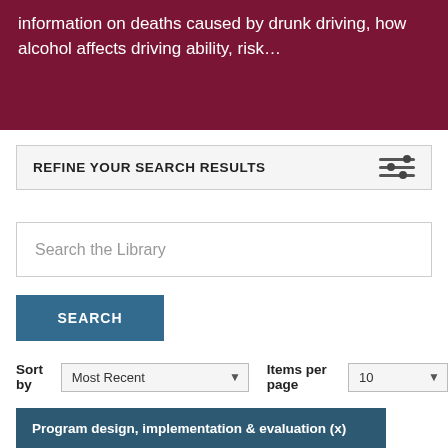information on deaths caused by drunk driving, how alcohol affects driving ability, risk…
REFINE YOUR SEARCH RESULTS
Search the Library
SEARCH
Sort by Most Recent   Items per page 10
Program design, implementation & evaluation (x)